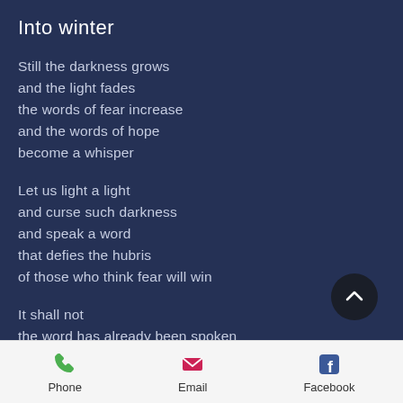Into winter
Still the darkness grows
and the light fades
the words of fear increase
and the words of hope
become a whisper
Let us light a light
and curse such darkness
and speak a word
that defies the hubris
of those who think fear will win
It shall not
the word has already been spoken
and the faithful know
when God's word is spoken
[Figure (other): Scroll-up button, dark circle with upward chevron]
Phone   Email   Facebook